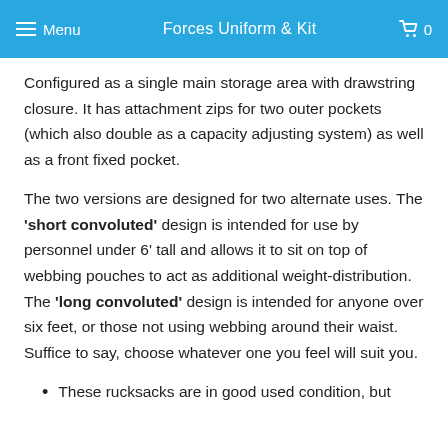Menu  Forces Uniform & Kit  0
Configured as a single main storage area with drawstring closure. It has attachment zips for two outer pockets (which also double as a capacity adjusting system) as well as a front fixed pocket.
The two versions are designed for two alternate uses. The 'short convoluted' design is intended for use by personnel under 6' tall and allows it to sit on top of webbing pouches to act as additional weight-distribution. The 'long convoluted' design is intended for anyone over six feet, or those not using webbing around their waist. Suffice to say, choose whatever one you feel will suit you.
These rucksacks are in good used condition, but